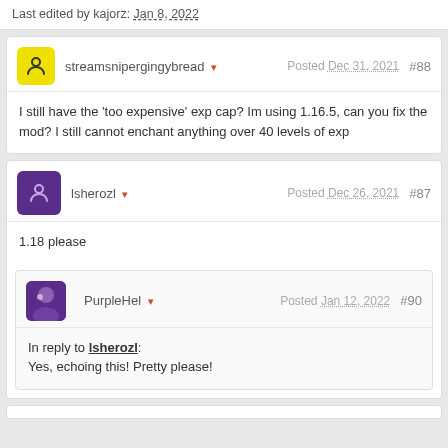Last edited by kajorz: Jan 8, 2022
streamsnipergingybread ▾  Posted Dec 31, 2021  #88
I still have the 'too expensive' exp cap? Im using 1.16.5, can you fix the mod? I still cannot enchant anything over 40 levels of exp
lsherozl ▾  Posted Dec 26, 2021  #87
1.18 please
PurpleHel ▾  Posted Jan 12, 2022  #90
In reply to lsherozl:
Yes, echoing this! Pretty please!